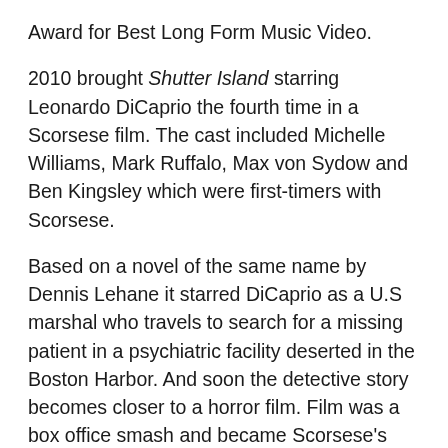Award for Best Long Form Music Video.
2010 brought Shutter Island starring Leonardo DiCaprio the fourth time in a Scorsese film. The cast included Michelle Williams, Mark Ruffalo, Max von Sydow and Ben Kingsley which were first-timers with Scorsese.
Based on a novel of the same name by Dennis Lehane it starred DiCaprio as a U.S marshal who travels to search for a missing patient in a psychiatric facility deserted in the Boston Harbor. And soon the detective story becomes closer to a horror film. Film was a box office smash and became Scorsese's highest grossing film.
The year 2011 brought Hugo which was based a novel The Invention of Hugo Carbet by Brian Selznick. Hugo was a 3D adventure drama film